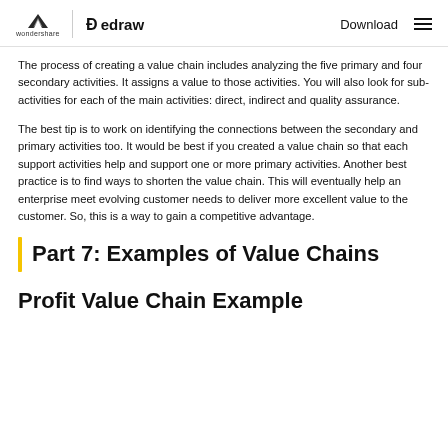wondershare | edraw   Download ☰
The process of creating a value chain includes analyzing the five primary and four secondary activities. It assigns a value to those activities. You will also look for sub-activities for each of the main activities: direct, indirect and quality assurance.
The best tip is to work on identifying the connections between the secondary and primary activities too. It would be best if you created a value chain so that each support activities help and support one or more primary activities. Another best practice is to find ways to shorten the value chain. This will eventually help an enterprise meet evolving customer needs to deliver more excellent value to the customer. So, this is a way to gain a competitive advantage.
Part 7: Examples of Value Chains
Profit Value Chain Example